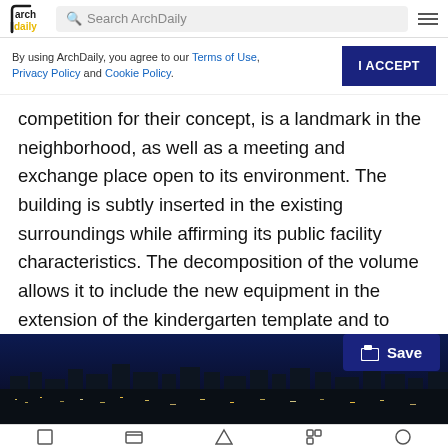ArchDaily — Search ArchDaily
By using ArchDaily, you agree to our Terms of Use, Privacy Policy and Cookie Policy.
competition for their concept, is a landmark in the neighborhood, as well as a meeting and exchange place open to its environment. The building is subtly inserted in the existing surroundings while affirming its public facility characteristics. The decomposition of the volume allows it to include the new equipment in the extension of the kindergarten template and to respect the scale of neighboring buildings.
[Figure (photo): Nighttime cityscape/skyline photograph showing city lights against a dark blue sky]
Bottom navigation bar with icons